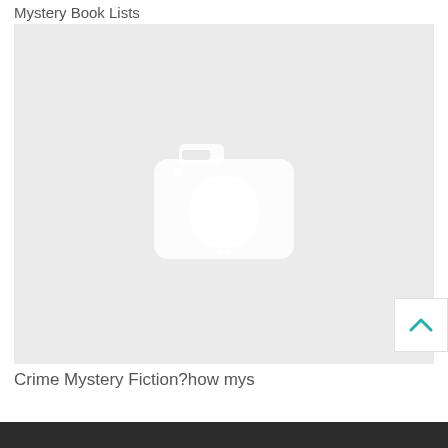Mystery Book Lists
[Figure (photo): Placeholder image with a white camera icon on a light gray background, indicating a missing or unloaded image.]
Crime Mystery Fiction?how mys